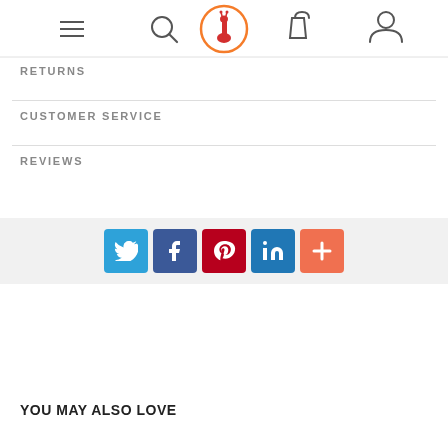[Figure (logo): Navigation bar with hamburger menu, search icon, giraffe logo in orange circle, shopping bag icon, and user icon]
RETURNS
CUSTOMER SERVICE
REVIEWS
[Figure (infographic): Social share buttons: Twitter (blue), Facebook (dark blue), Pinterest (dark red), LinkedIn (blue), More/Plus (orange-red)]
YOU MAY ALSO LOVE